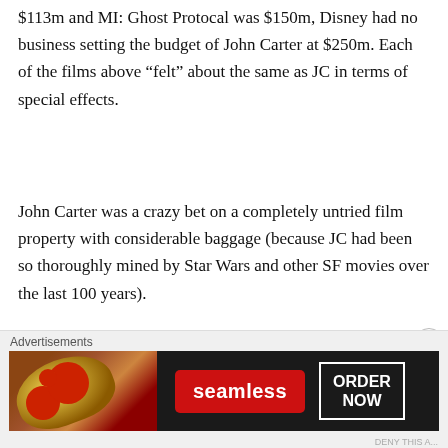$113m and MI: Ghost Protocal was $150m, Disney had no business setting the budget of John Carter at $250m. Each of the films above “felt” about the same as JC in terms of special effects.
John Carter was a crazy bet on a completely untried film property with considerable baggage (because JC had been so thoroughly mined by Star Wars and other SF movies over the last 100 years).
There was not a still that you could have taken from the film that would not have been confused
[Figure (other): Advertisement banner for Seamless food ordering. Shows pizza image on left, Seamless logo in red, and ORDER NOW button with white border on dark background.]